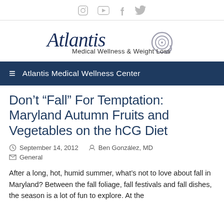Social icons: Instagram, YouTube, Facebook, Twitter
[Figure (logo): Atlantis Medical Wellness & Weight Loss logo with script text and spiral graphic]
≡  Atlantis Medical Wellness Center
Don’t “Fall” For Temptation: Maryland Autumn Fruits and Vegetables on the hCG Diet
September 14, 2012   Ben González, MD   General
After a long, hot, humid summer, what’s not to love about fall in Maryland? Between the fall foliage, fall festivals and fall dishes, the season is a lot of fun to explore. At the...